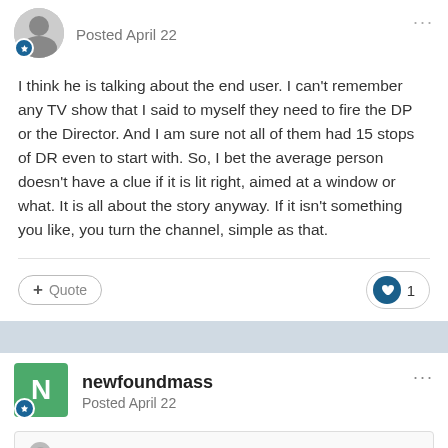Posted April 22
I think he is talking about the end user. I can't remember any TV show that I said to myself they need to fire the DP or the Director. And I am sure not all of them had 15 stops of DR even to start with. So, I bet the average person doesn't have a clue if it is lit right, aimed at a window or what. It is all about the story anyway. If it isn't something you like, you turn the channel, simple as that.
Quote  ♥ 1
newfoundmass
Posted April 22
On 4/21/2022 at 11:41 PM, kye said:
Think of it like diffusion